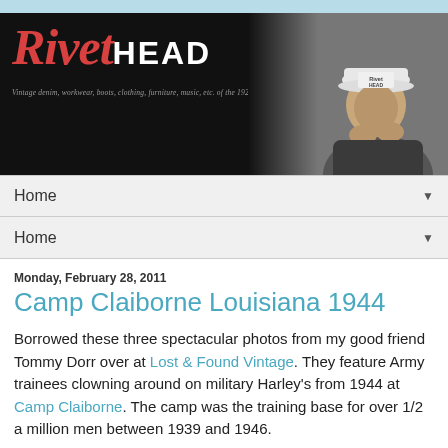[Figure (photo): RivetHead website banner with logo text 'RivetHEAD' in red and white on black background, with tagline 'Vintage denim, workwear, boots, clothing, furniture, music, etc. of the 1920's - 1950's.' and a black-and-white photo of a man wearing a cap on the right side]
Home
Home
Monday, February 28, 2011
Camp Claiborne Louisiana 1944
Borrowed these three spectacular photos from my good friend Tommy Dorr over at Lost & Found Vintage. They feature Army trainees clowning around on military Harley's from 1944 at Camp Claiborne. The camp was the training base for over 1/2 a million men between 1939 and 1946.